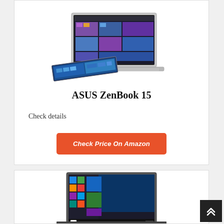[Figure (photo): ASUS ZenBook 15 laptop shown open with colorful media gallery on screen, with a separate display panel/ScreenPad in front showing blue abstract content]
ASUS ZenBook 15
Check details
Check Price On Amazon
[Figure (photo): Laptop with Windows 10 Start menu displayed on screen, shown from slight angle, dark metallic body]